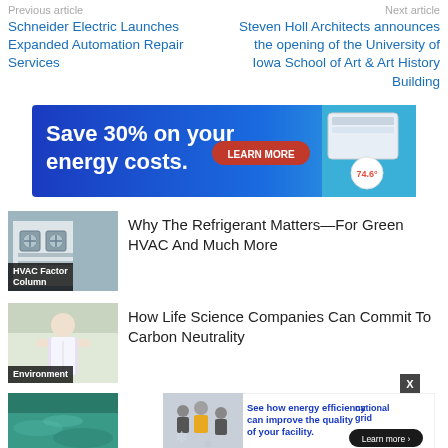Previous article    Next article
Schneider Electric Launches Expanded Automation Repair Services
Steven Holl Architects announces the opening of the University of Iowa School of Art & Art History Building
[Figure (other): Advertisement banner: Save 30% on your energy costs. LEARN MORE button with energy monitoring app screenshot]
[Figure (photo): HVAC equipment on building exterior, labeled HVAC Factor Column]
Why The Refrigerant Matters—For Green HVAC And Much More
[Figure (photo): Person in lab coat, labeled Environment]
How Life Science Companies Can Commit To Carbon Neutrality
[Figure (other): Advertisement: See how energy efficiency can improve the quality of your facility. nationalgrid Learn more]
[Figure (photo): Ocean/underwater photograph, partially visible]